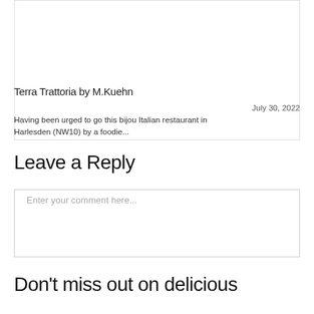Terra Trattoria by M.Kuehn
July 30, 2022
Having been urged to go this bijou Italian restaurant in Harlesden (NW10) by a foodie...
Leave a Reply
Enter your comment here...
Don't miss out on delicious